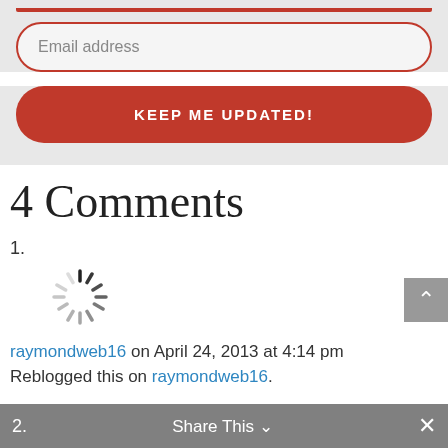[Figure (screenshot): Email address input field with red rounded border on grey background]
[Figure (screenshot): Red rounded button with white text KEEP ME UPDATED!]
4 Comments
1.
[Figure (other): Loading spinner icon]
raymondweb16 on April 24, 2013 at 4:14 pm
Reblogged this on raymondweb16.
2.
Share This ∨  ×